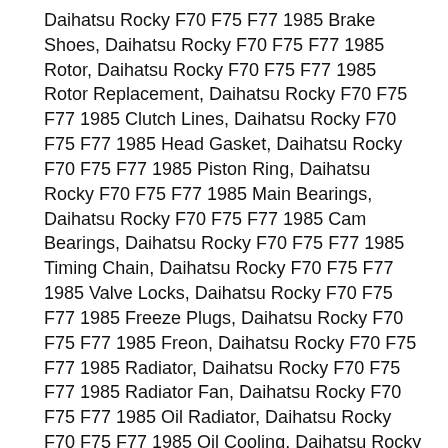Daihatsu Rocky F70 F75 F77 1985 Brake Shoes, Daihatsu Rocky F70 F75 F77 1985 Rotor, Daihatsu Rocky F70 F75 F77 1985 Rotor Replacement, Daihatsu Rocky F70 F75 F77 1985 Clutch Lines, Daihatsu Rocky F70 F75 F77 1985 Head Gasket, Daihatsu Rocky F70 F75 F77 1985 Piston Ring, Daihatsu Rocky F70 F75 F77 1985 Main Bearings, Daihatsu Rocky F70 F75 F77 1985 Cam Bearings, Daihatsu Rocky F70 F75 F77 1985 Timing Chain, Daihatsu Rocky F70 F75 F77 1985 Valve Locks, Daihatsu Rocky F70 F75 F77 1985 Freeze Plugs, Daihatsu Rocky F70 F75 F77 1985 Freon, Daihatsu Rocky F70 F75 F77 1985 Radiator, Daihatsu Rocky F70 F75 F77 1985 Radiator Fan, Daihatsu Rocky F70 F75 F77 1985 Oil Radiator, Daihatsu Rocky F70 F75 F77 1985 Oil Cooling, Daihatsu Rocky F70 F75 F77 1985 Push Rods, Daihatsu Rocky F70 F75 F77 1985 Intake Valves, Daihatsu Rocky F70 F75 F77 1985 Exhaust Valves, Daihatsu Rocky F70 F75 F77